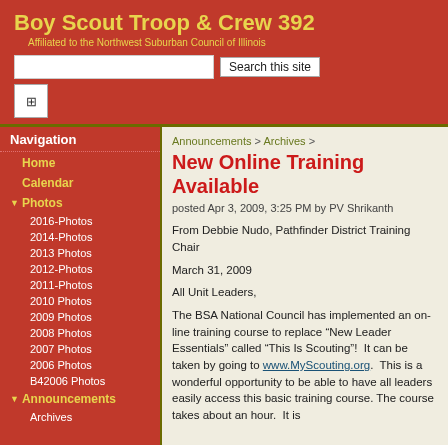Boy Scout Troop & Crew 392
Affiliated to the Northwest Suburban Council of Illinois
Navigation
Home
Calendar
Photos
2016-Photos
2014-Photos
2013 Photos
2012-Photos
2011-Photos
2010 Photos
2009 Photos
2008 Photos
2007 Photos
2006 Photos
B42006 Photos
Announcements
Archives
Announcements > Archives >
New Online Training Available
posted Apr 3, 2009, 3:25 PM by PV Shrikanth
From Debbie Nudo, Pathfinder District Training Chair
March 31, 2009
All Unit Leaders,
The BSA National Council has implemented an on-line training course to replace “New Leader Essentials” called “This Is Scouting”!  It can be taken by going to www.MyScouting.org.  This is a wonderful opportunity to be able to have all leaders easily access this basic training course. The course takes about an hour.  It is